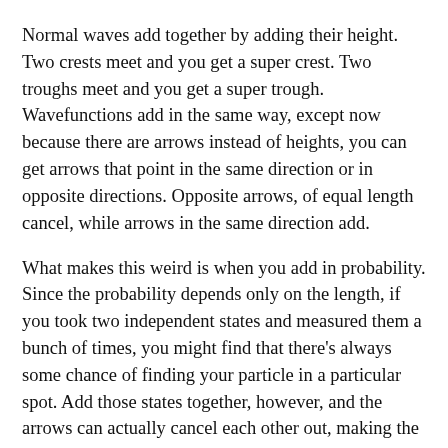Normal waves add together by adding their height. Two crests meet and you get a super crest. Two troughs meet and you get a super trough. Wavefunctions add in the same way, except now because there are arrows instead of heights, you can get arrows that point in the same direction or in opposite directions. Opposite arrows, of equal length cancel, while arrows in the same direction add.
What makes this weird is when you add in probability. Since the probability depends only on the length, if you took two independent states and measured them a bunch of times, you might find that there's always some chance of finding your particle in a particular spot. Add those states together, however, and the arrows can actually cancel each other out, making the separably possible state now impossible!
This shows two new and interesting properties of nature:
That the world is fundamentally random. Not random in the anything-can-possibly-happen variety, but in the kind of randomness